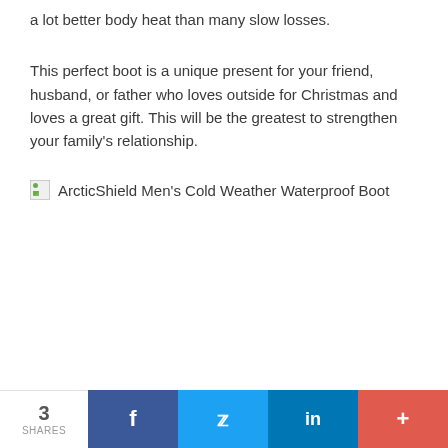a lot better body heat than many slow losses.
This perfect boot is a unique present for your friend, husband, or father who loves outside for Christmas and loves a great gift. This will be the greatest to strengthen your family’s relationship.
[Figure (illustration): Broken image placeholder followed by text label: ArcticShield Men’s Cold Weather Waterproof Boot]
3 SHARES | Facebook | Twitter | LinkedIn | More